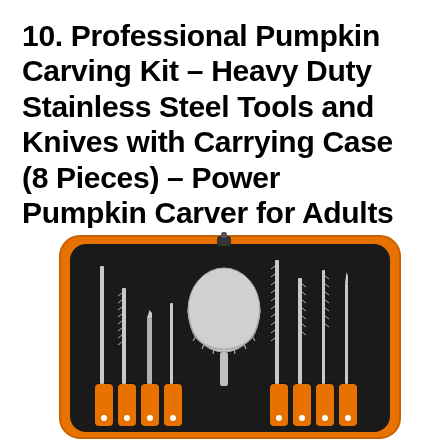10. Professional Pumpkin Carving Kit – Heavy Duty Stainless Steel Tools and Knives with Carrying Case (8 Pieces) – Power Pumpkin Carver for Adults & K
[Figure (photo): Photo of an open black zippered carrying case with orange trim containing 8 stainless steel pumpkin carving tools with orange handles laid out inside the case.]